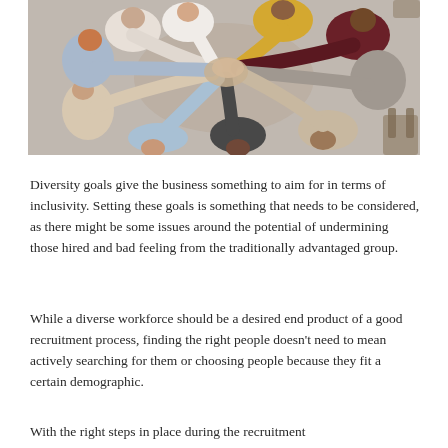[Figure (photo): Overhead view of a diverse group of people standing in a circle with hands raised together in the center, in an office/meeting room setting]
Diversity goals give the business something to aim for in terms of inclusivity. Setting these goals is something that needs to be considered, as there might be some issues around the potential of undermining those hired and bad feeling from the traditionally advantaged group.
While a diverse workforce should be a desired end product of a good recruitment process, finding the right people doesn't need to mean actively searching for them or choosing people because they fit a certain demographic.
With the right steps in place during the recruitment